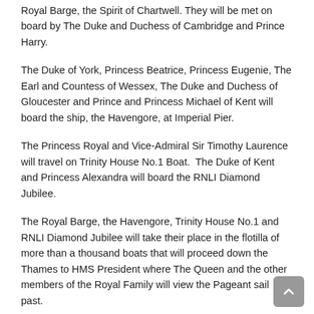Royal Barge, the Spirit of Chartwell. They will be met on board by The Duke and Duchess of Cambridge and Prince Harry.
The Duke of York, Princess Beatrice, Princess Eugenie, The Earl and Countess of Wessex, The Duke and Duchess of Gloucester and Prince and Princess Michael of Kent will board the ship, the Havengore, at Imperial Pier.
The Princess Royal and Vice-Admiral Sir Timothy Laurence will travel on Trinity House No.1 Boat.  The Duke of Kent and Princess Alexandra will board the RNLI Diamond Jubilee.
The Royal Barge, the Havengore, Trinity House No.1 and RNLI Diamond Jubilee will take their place in the flotilla of more than a thousand boats that will proceed down the Thames to HMS President where The Queen and the other members of the Royal Family will view the Pageant sail past.